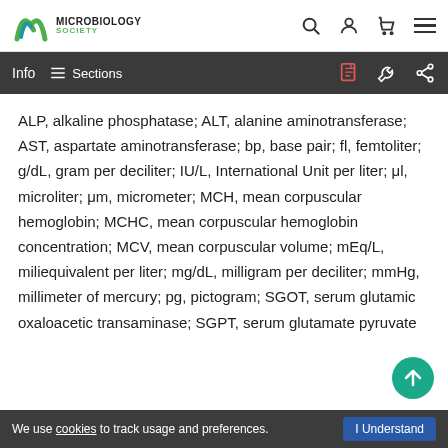Microbiology Society - top navigation bar with logo, search, account, cart, and menu icons
Info | Sections toolbar with PDF, tools, and share icons
ALP, alkaline phosphatase; ALT, alanine aminotransferase; AST, aspartate aminotransferase; bp, base pair; fl, femtoliter; g/dL, gram per deciliter; IU/L, International Unit per liter; μl, microliter; μm, micrometer; MCH, mean corpuscular hemoglobin; MCHC, mean corpuscular hemoglobin concentration; MCV, mean corpuscular volume; mEq/L, miliequivalent per liter; mg/dL, milligram per deciliter; mmHg, millimeter of mercury; pg, pictogram; SGOT, serum glutamic oxaloacetic transaminase; SGPT, serum glutamate pyruvate
We use cookies to track usage and preferences. I Understand